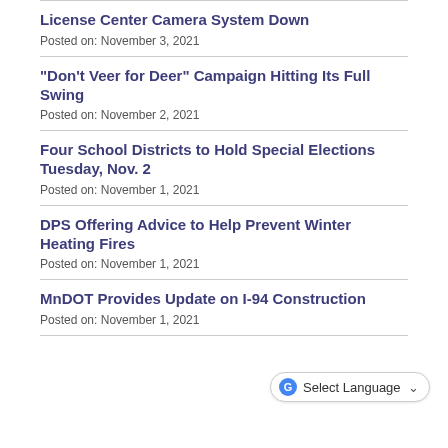License Center Camera System Down
Posted on: November 3, 2021
"Don't Veer for Deer" Campaign Hitting Its Full Swing
Posted on: November 2, 2021
Four School Districts to Hold Special Elections Tuesday, Nov. 2
Posted on: November 1, 2021
DPS Offering Advice to Help Prevent Winter Heating Fires
Posted on: November 1, 2021
MnDOT Provides Update on I-94 Construction
Posted on: November 1, 2021